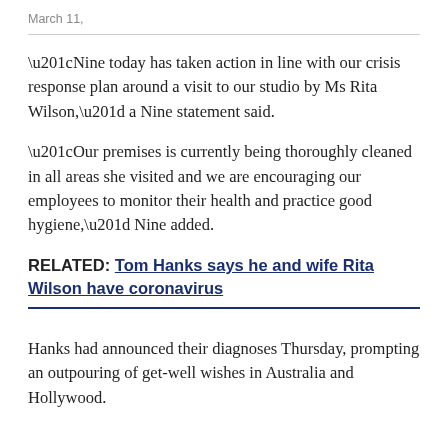March 11,
“Nine today has taken action in line with our crisis response plan around a visit to our studio by Ms Rita Wilson,” a Nine statement said.
“Our premises is currently being thoroughly cleaned in all areas she visited and we are encouraging our employees to monitor their health and practice good hygiene,” Nine added.
RELATED: Tom Hanks says he and wife Rita Wilson have coronavirus
Hanks had announced their diagnoses Thursday, prompting an outpouring of get-well wishes in Australia and Hollywood.